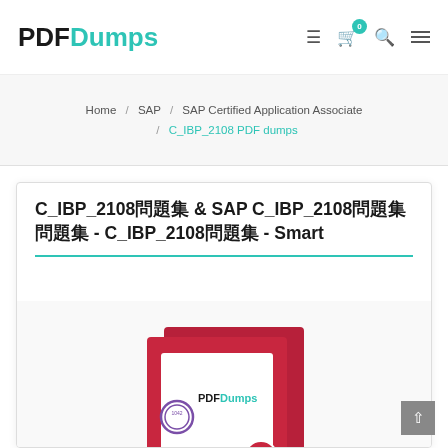[Figure (logo): PDFDumps logo with PDF in black bold and Dumps in teal/cyan bold]
Home / SAP / SAP Certified Application Associate / C_IBP_2108 PDF dumps
C_IBP_2108問題集 & SAP C_IBP_2108問題集問題集 - C_IBP_2108問題集 - Smart
[Figure (photo): PDFDumps product box with logo, purple seal badge, and red/maroon branding]